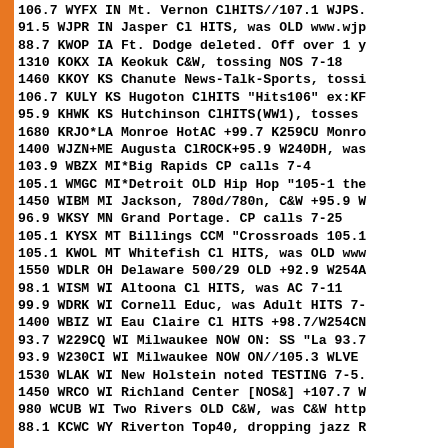106.7 WYFX IN Mt. Vernon ClHITS//107.1 WJPS.
91.5 WJPR IN Jasper Cl HITS, was OLD www.wjp
88.7 KWOP IA Ft. Dodge deleted. Off over 1 y
1310 KOKX IA Keokuk C&W, tossing NOS 7-18
1460 KKOY KS Chanute News-Talk-Sports, tossi
106.7 KULY KS Hugoton ClHITS "Hits106" ex:KF
95.9 KHWK KS Hutchinson ClHITS(WW1), tosses
1680 KRJO*LA Monroe HotAC +99.7 K259CU Monro
1400 WJZN+ME Augusta ClROCK+95.9 W240DH, was
103.9 WBZX MI*Big Rapids CP calls 7-4
105.1 WMGC MI*Detroit OLD Hip Hop "105-1 the
1450 WIBM MI Jackson, 780d/780n, C&W +95.9 W
96.9 WKSY MN Grand Portage. CP calls 7-25
105.1 KYSX MT Billings CCM "Crossroads 105.1
105.1 KWOL MT Whitefish Cl HITS, was OLD www
1550 WDLR OH Delaware 500/29 OLD +92.9 W254A
98.1 WISM WI Altoona Cl HITS, was AC 7-11
99.9 WDRK WI Cornell Educ, was Adult HITS 7-
1400 WBIZ WI Eau Claire Cl HITS +98.7/W254CN
93.7 W229CQ WI Milwaukee NOW ON: SS "La 93.7
93.9 W230CI WI Milwaukee NOW ON//105.3 WLVE
1530 WLAK WI New Holstein noted TESTING 7-5.
1450 WRCO WI Richland Center [NOS&] +107.7 W
980 WCUB WI Two Rivers OLD C&W, was C&W http
88.1 KCWC WY Riverton Top40, dropping jazz R